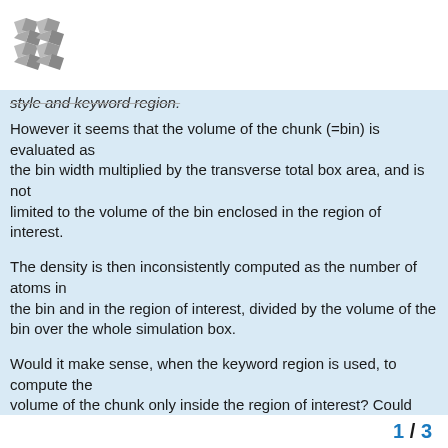[Logo]
style and keyword region.
However it seems that the volume of the chunk (=bin) is evaluated as
the bin width multiplied by the transverse total box area, and is not
limited to the volume of the bin enclosed in the region of interest.
The density is then inconsistently computed as the number of atoms in
the bin and in the region of interest, divided by the volume of the
bin over the whole simulation box.
Would it make sense, when the keyword region is used, to compute the
volume of the chunk only inside the region of interest? Could that
create issues for other possible uses of co
In that
1 / 3